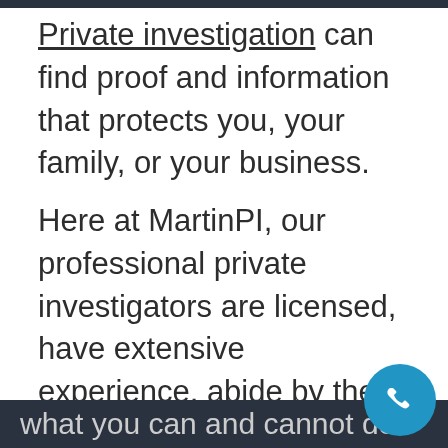Private investigation can find proof and information that protects you, your family, or your business.
Here at MartinPI, our professional private investigators are licensed, have extensive experience, abide by the law, advise you on your situation, and explain what you can and cannot do